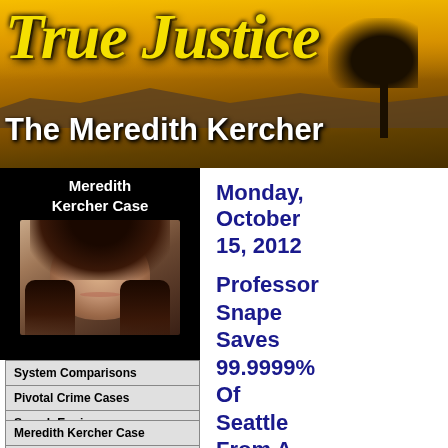[Figure (screenshot): True Justice website header banner with golden sunset background and silhouetted tree. Large italic yellow title 'True Justice' and white subtitle 'The Meredith Kercher']
True Justice
The Meredith Kercher
[Figure (photo): Portrait photo of Meredith Kercher, a young woman with long dark hair, smiling, against a dark background]
Meredith Kercher Case
System Comparisons
Pivotal Crime Cases
Search Engine
Monday, October 15, 2012
Professor Snape Saves 99.9999% Of Seattle From A
Meredith Kercher Case
The Official Case Files
The Smoking Guns